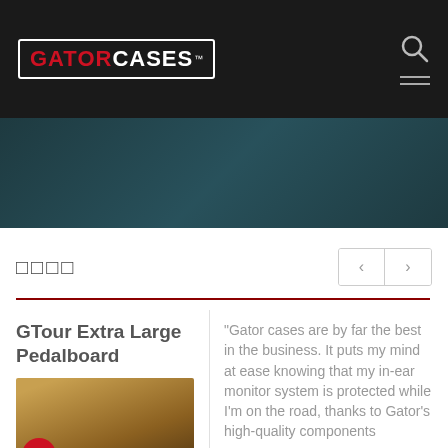[Figure (logo): GatorCases logo with GATOR in red and CASES in white on black background, with TM mark]
[Figure (photo): Dark teal/blue hero banner image showing blurred background]
□□□□
[Figure (other): Navigation arrows left and right in bordered box]
GTour Extra Large Pedalboard
[Figure (photo): Product photo of GTour Extra Large Pedalboard case, dark colored case with Chinese flag label]
"Gator cases are by far the best in the business. It puts my mind at ease knowing that my in-ear monitor system is protected while I'm on the road, thanks to Gator's high-quality components